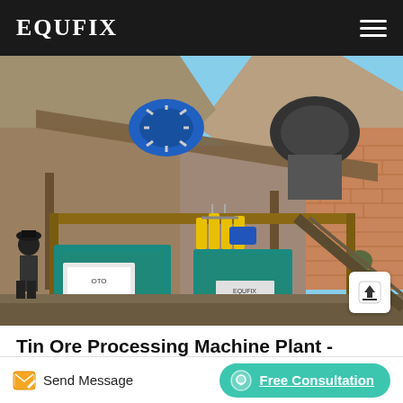EQUFIX
[Figure (photo): Outdoor tin ore processing machine plant with teal-colored equipment, yellow hydraulic components, blue electric motor, conveyor structure, workers in the scene, rocky terrain and brick wall in background under clear sky.]
Tin Ore Processing Machine Plant -
Send Message
Free Consultation